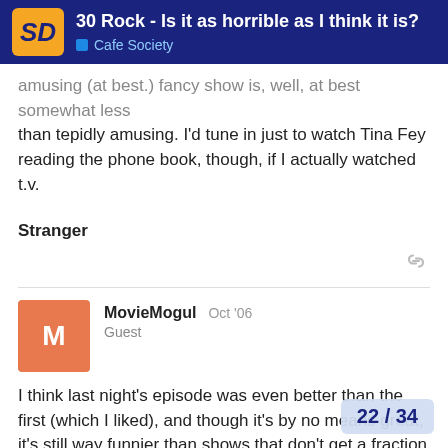30 Rock - Is it as horrible as I think it is? | Cafe Society
amusing (at best.) Fancy show is, well, at best somewhat less than tepidly amusing. I'd tune in just to watch Tina Fey reading the phone book, though, if I actually watched t.v.
Stranger
MovieMogul  Oct '06
Guest
I think last night's episode was even better than the first (which I liked), and though it's by no means great, it's still way funnier than shows that don't get a fraction of this hostility on the board (2.5 Men, New/Old Christine, How I Met…, etc.). I liked that even though it's dealing with familiar tropes and devices, the payoffs still made me laugh. I liked how they pulled off the "You're miked" gag seamlessly, than went the monitor" without it feeling contrived. An
22 / 34